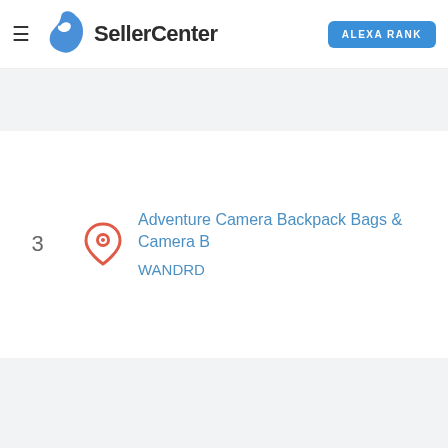SellerCenter | ALEXA RANK
3
Adventure Camera Backpack Bags & Camera B... WANDRD